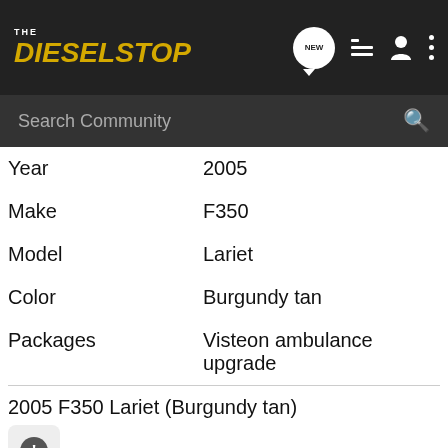THE DIESELSTOP
| Field | Value |
| --- | --- |
| Year | 2005 |
| Make | F350 |
| Model | Lariet |
| Color | Burgundy tan |
| Packages | Visteon ambulance upgrade |
2005 F350 Lariet (Burgundy tan)
Gallery